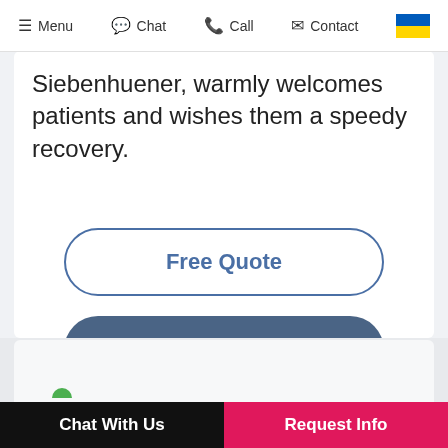Menu  Chat  Call  Contact
Siebenhuener, warmly welcomes patients and wishes them a speedy recovery.
Free Quote
Meet the Center
Chat With Us   Request Info